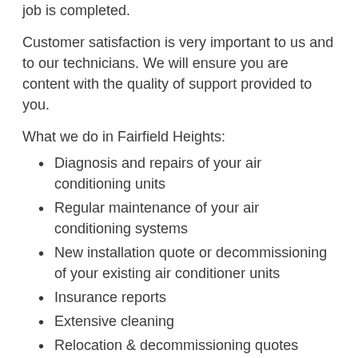job is completed.
Customer satisfaction is very important to us and to our technicians. We will ensure you are content with the quality of support provided to you.
What we do in Fairfield Heights:
Diagnosis and repairs of your air conditioning units
Regular maintenance of your air conditioning systems
New installation quote or decommissioning of your existing air conditioner units
Insurance reports
Extensive cleaning
Relocation & decommissioning quotes
Carbon monoxide testing
Sensible solutions with affordable pricing structure for all financial situations.
To set up an appointment, call us at 02 9054 5391. Our